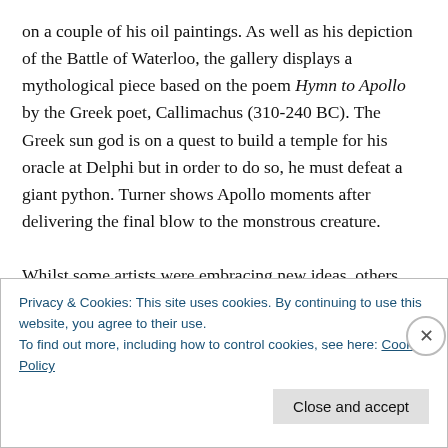on a couple of his oil paintings. As well as his depiction of the Battle of Waterloo, the gallery displays a mythological piece based on the poem Hymn to Apollo by the Greek poet, Callimachus (310-240 BC). The Greek sun god is on a quest to build a temple for his oracle at Delphi but in order to do so, he must defeat a giant python. Turner shows Apollo moments after delivering the final blow to the monstrous creature.

Whilst some artists were embracing new ideas, others preferred the tried and tested methods of the 16th and
Privacy & Cookies: This site uses cookies. By continuing to use this website, you agree to their use.
To find out more, including how to control cookies, see here: Cookie Policy